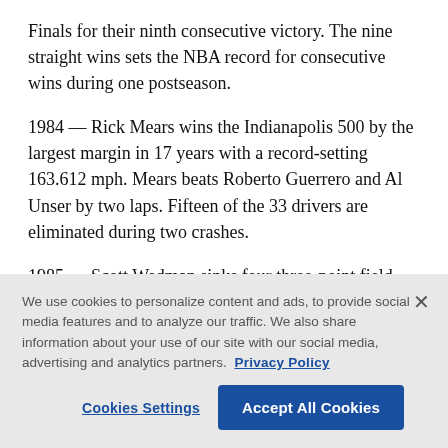Finals for their ninth consecutive victory. The nine straight wins sets the NBA record for consecutive wins during one postseason.
1984 — Rick Mears wins the Indianapolis 500 by the largest margin in 17 years with a record-setting 163.612 mph. Mears beats Roberto Guerrero and Al Unser by two laps. Fifteen of the 33 drivers are eliminated during two crashes.
1985 — Scott Wedman sinks four three-point field [cut off]
We use cookies to personalize content and ads, to provide social media features and to analyze our traffic. We also share information about your use of our site with our social media, advertising and analytics partners. Privacy Policy
Cookies Settings
Accept All Cookies